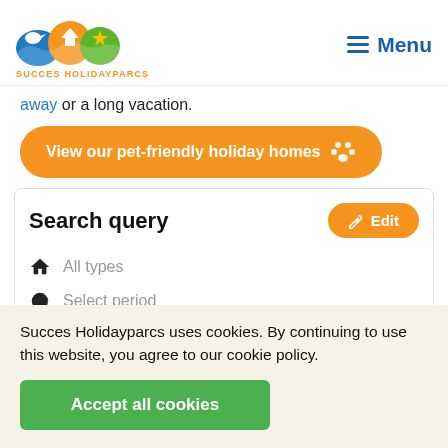SUCCES HOLIDAYPARCS — Menu
away or a long vacation.
View our pet-friendly holiday homes 🐾
Search query
All types
Select period
Succes Holidayparcs uses cookies. By continuing to use this website, you agree to our cookie policy.
Accept all cookies